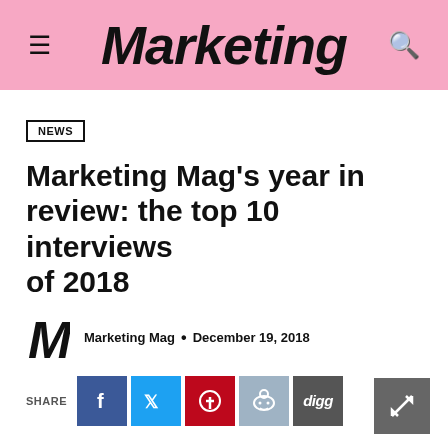Marketing
NEWS
Marketing Mag's year in review: the top 10 interviews of 2018
Marketing Mag · December 19, 2018
[Figure (other): Social share buttons: Facebook, Twitter, Pinterest, Reddit, Digg]